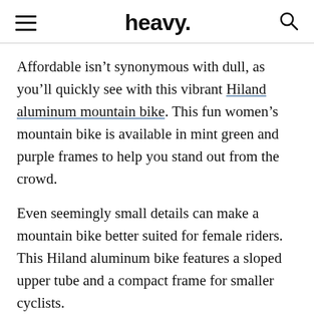heavy.
Affordable isn’t synonymous with dull, as you’ll quickly see with this vibrant Hiland aluminum mountain bike. This fun women’s mountain bike is available in mint green and purple frames to help you stand out from the crowd.
Even seemingly small details can make a mountain bike better suited for female riders. This Hiland aluminum bike features a sloped upper tube and a compact frame for smaller cyclists.
A choice between 26 and 27.5-inch frames opens up